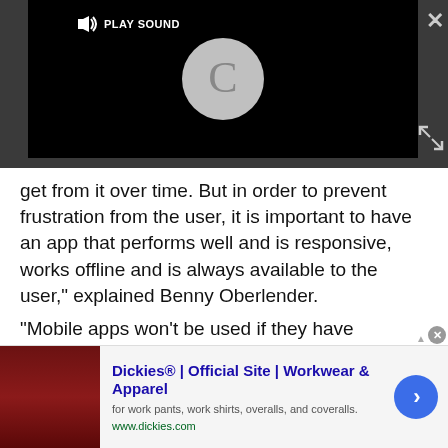[Figure (screenshot): Video player with black background, loading spinner circle, and 'PLAY SOUND' button in top-left corner. An X close button is in the top-right and an expand icon in the bottom-right.]
get from it over time. But in order to prevent frustration from the user, it is important to have an app that performs well and is responsive, works offline and is always available to the user," explained Benny Oberlender.
"Mobile apps won't be used if they have frequent disconnects or fail to handle session conflicts," added David Akka, Managing Director at Magic.
Summing it up, Idit Mishan, CEO at the award-winning
[Figure (screenshot): Advertisement banner for Dickies Official Site. Shows a red couch image on the left, ad title 'Dickies® | Official Site | Workwear & Apparel', description 'for work pants, work shirts, overalls, and coveralls.', URL 'www.dickies.com', and a blue circular arrow button on the right.]